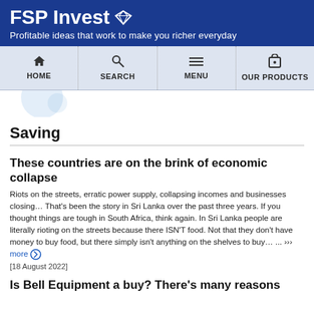FSP Invest – Profitable ideas that work to make you richer everyday
Saving
These countries are on the brink of economic collapse
Riots on the streets, erratic power supply, collapsing incomes and businesses closing… That's been the story in Sri Lanka over the past three years. If you thought things are tough in South Africa, think again. In Sri Lanka people are literally rioting on the streets because there ISN'T food. Not that they don't have money to buy food, but there simply isn't anything on the shelves to buy… ... ››› more
[18 August 2022]
Is Bell Equipment a buy? There's many reasons